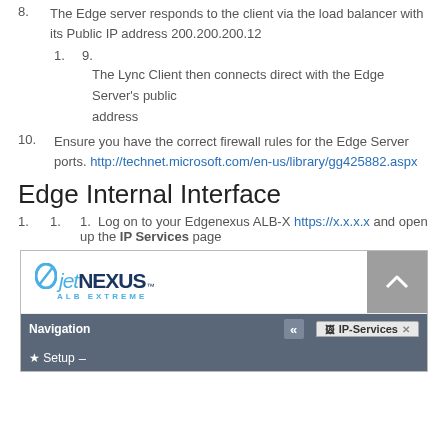8.    The Edge server responds to the client via the load balancer with its  Public IP address 200.200.200.12
1. 9.
The Lync Client then connects direct with the Edge Server's public address
10.    Ensure you have the correct firewall rules for the Edge Server ports. http://technet.microsoft.com/en-us/library/gg425882.aspx
Edge Internal Interface
1. 1. 1.  Log on to your Edgenexus ALB-X https://x.x.x.x and open up the IP Services page
[Figure (screenshot): Screenshot of the Edgenexus ALB-X web interface showing the jetNEXUS ALB EXTREME logo, a scroll-to-top button, a Navigation panel with collapse button, and an IP-Services tab. Below is a Setup menu item.]